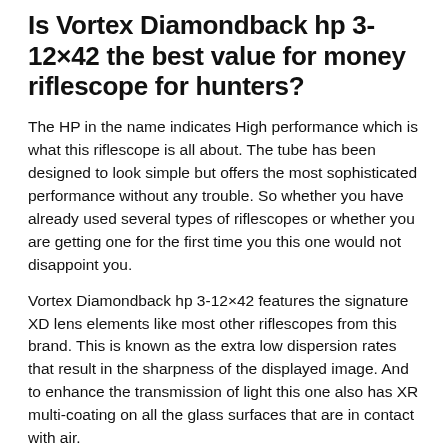Is Vortex Diamondback hp 3-12×42 the best value for money riflescope for hunters?
The HP in the name indicates High performance which is what this riflescope is all about. The tube has been designed to look simple but offers the most sophisticated performance without any trouble. So whether you have already used several types of riflescopes or whether you are getting one for the first time you this one would not disappoint you.
Vortex Diamondback hp 3-12×42 features the signature XD lens elements like most other riflescopes from this brand. This is known as the extra low dispersion rates that result in the sharpness of the displayed image. And to enhance the transmission of light this one also has XR multi-coating on all the glass surfaces that are in contact with air.
With a magnification range of 3-12x, this is a pretty